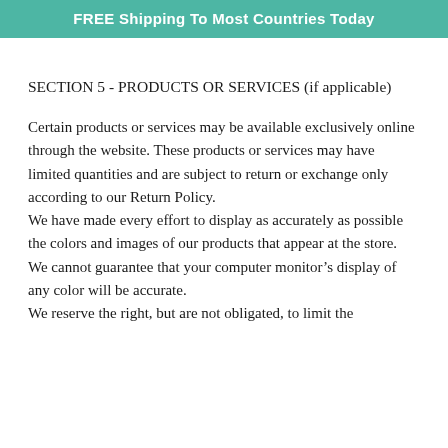FREE Shipping To Most Countries Today
SECTION 5 - PRODUCTS OR SERVICES (if applicable)
Certain products or services may be available exclusively online through the website. These products or services may have limited quantities and are subject to return or exchange only according to our Return Policy.
We have made every effort to display as accurately as possible the colors and images of our products that appear at the store. We cannot guarantee that your computer monitor’s display of any color will be accurate.
We reserve the right, but are not obligated, to limit the